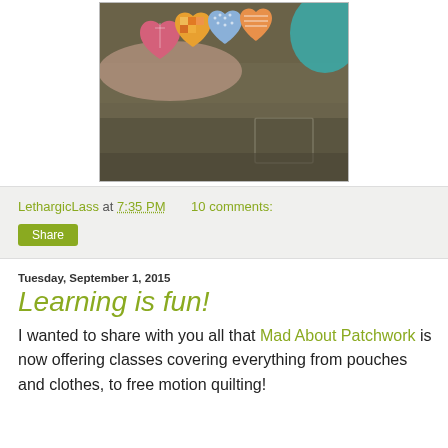[Figure (photo): Photo of colorful patchwork fabric hearts held in hands, resting on dark olive/khaki fabric clothing, with a teal pillow visible in background]
LethargicLass at 7:35 PM   10 comments:
Share
Tuesday, September 1, 2015
Learning is fun!
I wanted to share with you all that Mad About Patchwork is now offering classes covering everything from pouches and clothes, to free motion quilting!